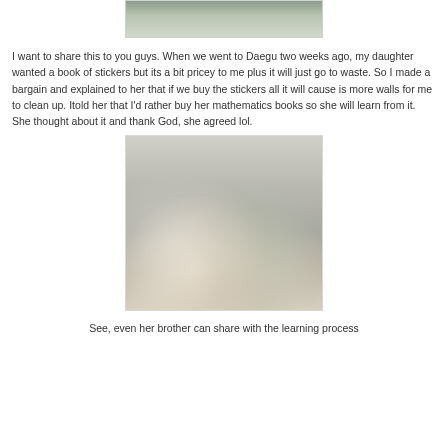[Figure (photo): Partial photo at top of page, cropped — appears to show a person, partially visible]
I want to share this to you guys. When we went to Daegu two weeks ago, my daughter wanted a book of stickers but its a bit pricey to me plus it will just go to waste. So I made a bargain and explained to her that if we buy the stickers all it will cause is more walls for me to clean up. Itold her that I'd rather buy her mathematics books so she will learn from it. She thought about it and thank God, she agreed lol.
[Figure (photo): Two children lying on the floor on a rug, looking at and writing in a colorful mathematics book/workbook. A red ball and furniture are visible in the background.]
See, even her brother can share with the learning process